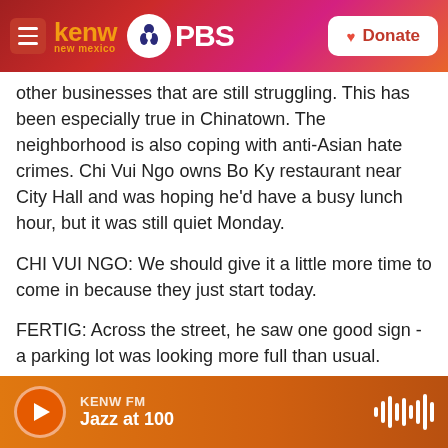KENW new mexico PBS | Donate
other businesses that are still struggling. This has been especially true in Chinatown. The neighborhood is also coping with anti-Asian hate crimes. Chi Vui Ngo owns Bo Ky restaurant near City Hall and was hoping he'd have a busy lunch hour, but it was still quiet Monday.
CHI VUI NGO: We should give it a little more time to come in because they just start today.
FERTIG: Across the street, he saw one good sign - a parking lot was looking more full than usual.
For NPR News, I'm Beth Fertig in New York.
KENW FM | Jazz at 100